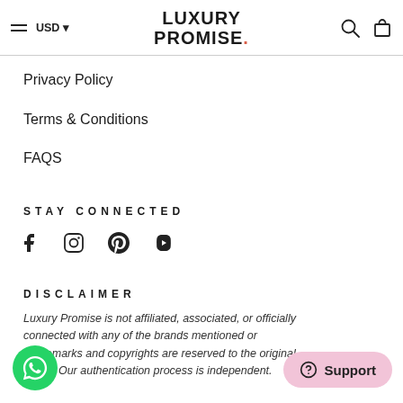LUXURY PROMISE. — USD
Privacy Policy
Terms & Conditions
FAQS
STAY CONNECTED
[Figure (other): Social media icons: Facebook, Instagram, Pinterest, YouTube]
DISCLAIMER
Luxury Promise is not affiliated, associated, or officially connected with any of the brands mentioned or Trademarks and copyrights are reserved to the original brand. Our authentication process is independent.